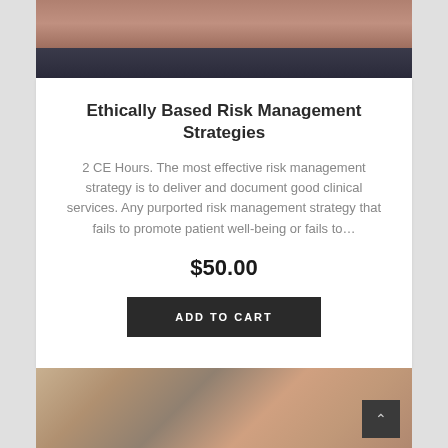[Figure (photo): Cropped photo showing lower face and suit/shirt collar of a person in business attire]
Ethically Based Risk Management Strategies
2 CE Hours. The most effective risk management strategy is to deliver and document good clinical services. Any purported risk management strategy that fails to promote patient well-being or fails to…
$50.00
ADD TO CART
[Figure (photo): Photo of a middle-aged man with dark hair and mustache outdoors in an urban setting with buildings and a clock tower in the background]